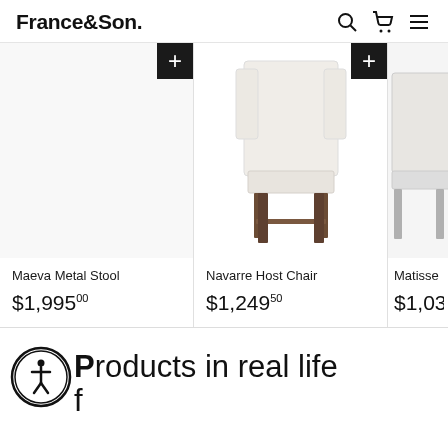France&Son
[Figure (screenshot): Product card: Maeva Metal Stool, $1,995.00]
Maeva Metal Stool
$1,995.00
[Figure (photo): Navarre Host Chair - white upholstered wingback chair with dark wood legs]
Navarre Host Chair
$1,249.50
[Figure (photo): Matisse chair - partially visible]
Matisse
$1,039
Products in real life